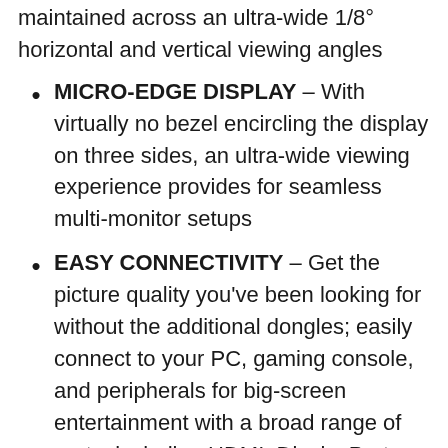maintained across an ultra-wide 1/8° horizontal and vertical viewing angles
MICRO-EDGE DISPLAY – With virtually no bezel encircling the display on three sides, an ultra-wide viewing experience provides for seamless multi-monitor setups
EASY CONNECTIVITY – Get the picture quality you've been looking for without the additional dongles; easily connect to your PC, gaming console, and peripherals for big-screen entertainment with a broad range of ports, including HDMI, DisplayPort, and VGA ports
BUILT-IN SPEAKERS – Experience